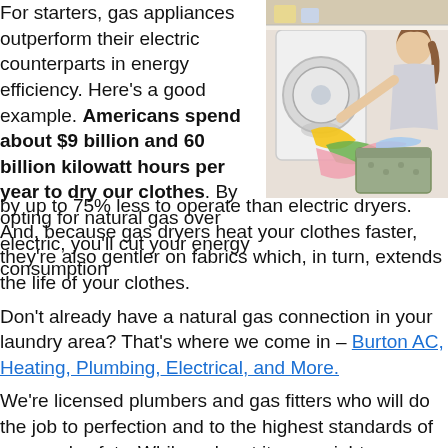For starters, gas appliances outperform their electric counterparts in energy efficiency. Here's a good example. Americans spend about $9 billion and 60 billion kilowatt hours per year to dry our clothes. By opting for natural gas over electric, you'll cut your energy consumption by up to 75% less to operate than electric dryers. And, because gas dryers heat your clothes faster, they're also gentler on fabrics which, in turn, extends the life of your clothes.
[Figure (photo): Woman loading colorful laundry into a front-loading washing machine, with a grey laundry basket of clothes nearby.]
Don't already have a natural gas connection in your laundry area? That's where we come in – Burton AC, Heating, Plumbing, Electrical, and More.
We're licensed plumbers and gas fitters who will do the job to perfection and to the highest standards of personal safety. While we're at it, you might even consider replacing other electric appli...